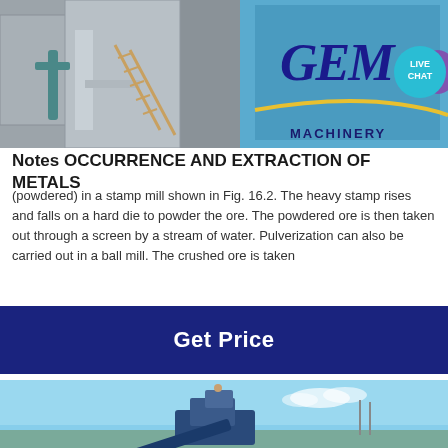[Figure (photo): Industrial mining/milling equipment - stamp mill or similar heavy machinery in a concrete structure with blue panel and GEM Machinery logo with LIVE CHAT bubble overlay]
Notes OCCURRENCE AND EXTRACTION OF METALS
(powdered) in a stamp mill shown in Fig. 16.2. The heavy stamp rises and falls on a hard die to powder the ore. The powdered ore is then taken out through a screen by a stream of water. Pulverization can also be carried out in a ball mill. The crushed ore is taken
[Figure (other): Get Price button - dark navy blue banner with white bold text]
[Figure (photo): Outdoor photo of mining machinery against blue sky - appears to be a conveyor or sorting machine in an open-air setting]